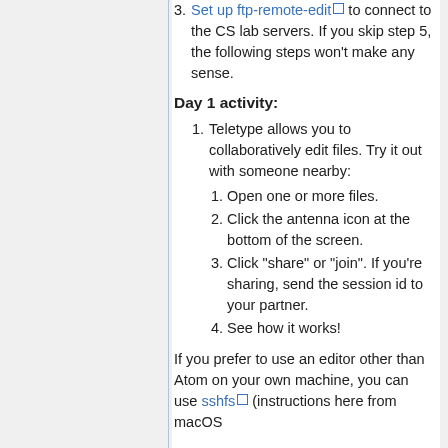3. Set up ftp-remote-edit [link] to connect to the CS lab servers. If you skip step 5, the following steps won't make any sense.
Day 1 activity:
1. Teletype allows you to collaboratively edit files. Try it out with someone nearby:
1. Open one or more files.
2. Click the antenna icon at the bottom of the screen.
3. Click "share" or "join". If you're sharing, send the session id to your partner.
4. See how it works!
If you prefer to use an editor other than Atom on your own machine, you can use sshfs [link] (instructions here from macOS